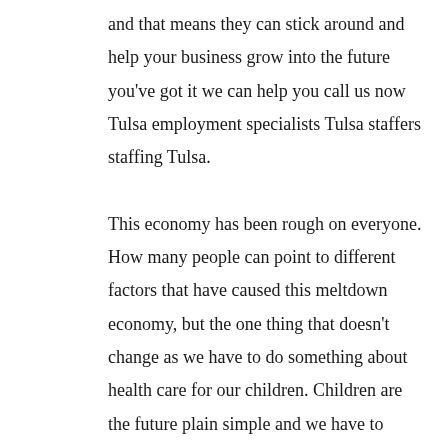and that means they can stick around and help your business grow into the future you've got it we can help you call us now Tulsa employment specialists Tulsa staffers staffing Tulsa.

This economy has been rough on everyone. How many people can point to different factors that have caused this meltdown economy, but the one thing that doesn't change as we have to do something about health care for our children. Children are the future plain simple and we have to watch out for them because if we don't who will. Make donations under giveback program that allows Oklahoma